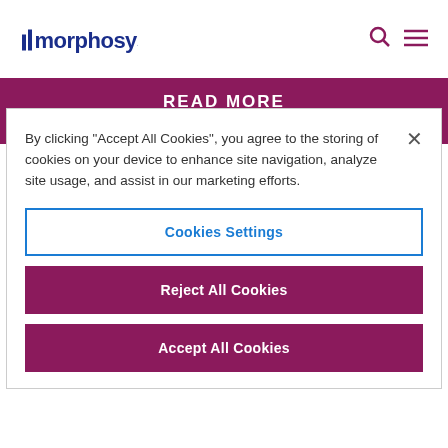[Figure (logo): MorphoSys company logo in dark blue bold text with vertical bar accent]
[Figure (infographic): Navigation icons: search (magnifying glass) and menu (hamburger lines) in dark pink/maroon color]
READ MORE
By clicking "Accept All Cookies", you agree to the storing of cookies on your device to enhance site navigation, analyze site usage, and assist in our marketing efforts.
Cookies Settings
Reject All Cookies
Accept All Cookies